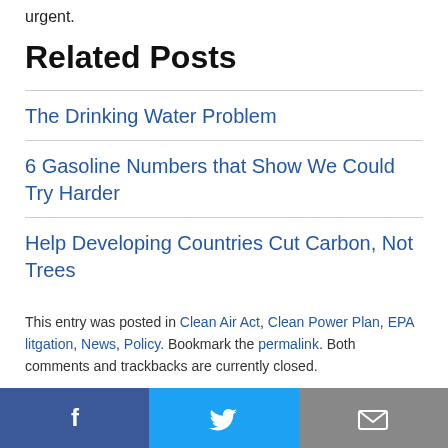urgent.
Related Posts
The Drinking Water Problem
6 Gasoline Numbers that Show We Could Try Harder
Help Developing Countries Cut Carbon, Not Trees
This entry was posted in Clean Air Act, Clean Power Plan, EPA litgation, News, Policy. Bookmark the permalink. Both comments and trackbacks are currently closed.
[Figure (infographic): Social sharing bar with three buttons: Facebook (dark blue, f icon), Twitter (light blue, bird icon), Email (gray, envelope icon)]